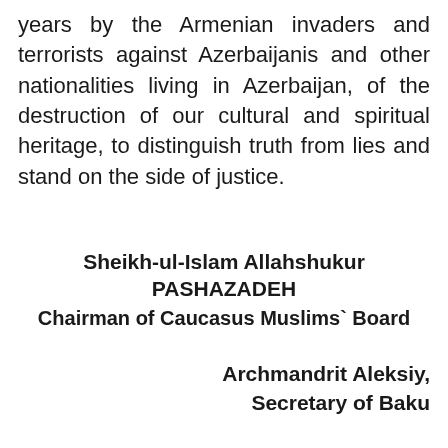years by the Armenian invaders and terrorists against Azerbaijanis and other nationalities living in Azerbaijan, of the destruction of our cultural and spiritual heritage, to distinguish truth from lies and stand on the side of justice.
Sheikh-ul-Islam Allahshukur PASHAZADEH
Chairman of Caucasus Muslims` Board
Archmandrit Aleksiy,
Secretary of Baku